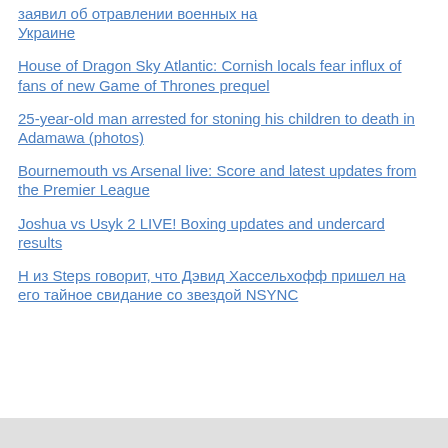заявил об отравлении военных на Украине
House of Dragon Sky Atlantic: Cornish locals fear influx of fans of new Game of Thrones prequel
25-year-old man arrested for stoning his children to death in Adamawa (photos)
Bournemouth vs Arsenal live: Score and latest updates from the Premier League
Joshua vs Usyk 2 LIVE! Boxing updates and undercard results
Н из Steps говорит, что Дэвид Хассельхофф пришел на его тайное свидание со звездой NSYNC